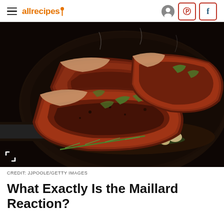allrecipes
[Figure (photo): Two thick seasoned steaks searing in a cast iron skillet with rosemary, thyme, and garlic cloves, with a dark background and visible steam/smoke]
CREDIT: JJPOOLE/GETTY IMAGES
What Exactly Is the Maillard Reaction?